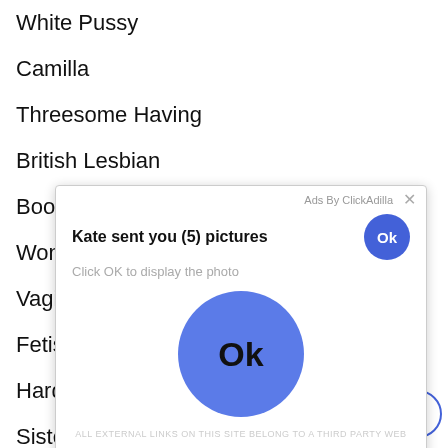White Pussy
Camilla
Threesome Having
British Lesbian
Booty
Wom
Vagin
Fetish
Hardc
Sister Fucks
[Figure (screenshot): Ad overlay from ClickAdilla showing 'Kate sent you (5) pictures' with 'Click OK to display the photo' text and a large blue Ok button]